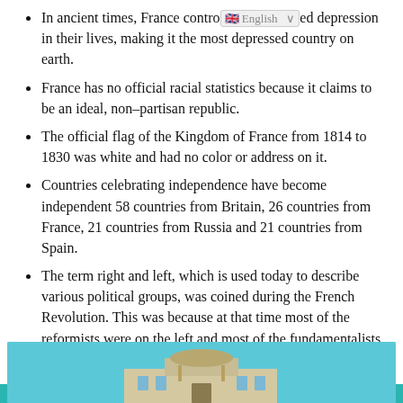In ancient times, France controlled…
One in five French people has experienced depression in their lives, making it the most depressed country on earth.
France has no official racial statistics because it claims to be an ideal, non-partisan republic.
The official flag of the Kingdom of France from 1814 to 1830 was white and had no color or address on it.
Countries celebrating independence have become independent 58 countries from Britain, 26 countries from France, 21 countries from Russia and 21 countries from Spain.
The term right and left, which is used today to describe various political groups, was coined during the French Revolution. This was because at that time most of the reformists were on the left and most of the fundamentalists were on the right of the National Assembly.
[Figure (photo): A building photographed against a blue sky, partially visible at the bottom of the page.]